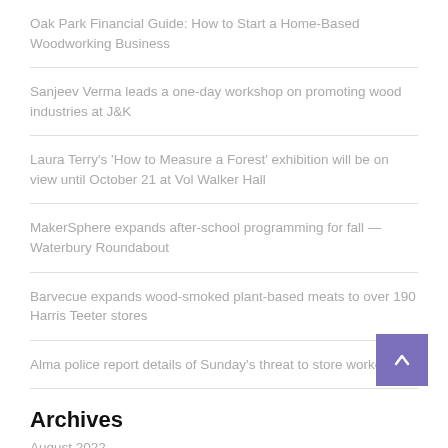Oak Park Financial Guide: How to Start a Home-Based Woodworking Business
Sanjeev Verma leads a one-day workshop on promoting wood industries at J&K
Laura Terry's 'How to Measure a Forest' exhibition will be on view until October 21 at Vol Walker Hall
MakerSphere expands after-school programming for fall — Waterbury Roundabout
Barvecue expands wood-smoked plant-based meats to over 190 Harris Teeter stores
Alma police report details of Sunday's threat to store worker
Archives
August 2022
July 2022